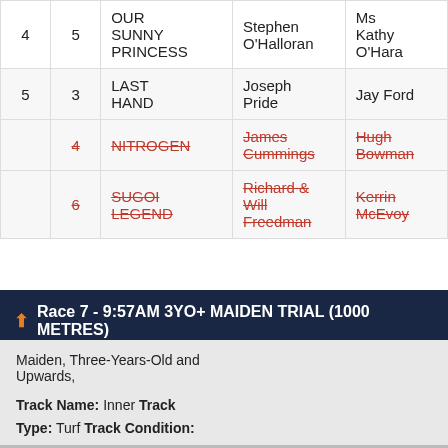|  | Barrier | Horse | Trainer | Jockey |
| --- | --- | --- | --- | --- |
| 4 | 5 | OUR SUNNY PRINCESS | Stephen O'Halloran | Ms Kathy O'Hara |
| 5 | 3 | LAST HAND | Joseph Pride | Jay Ford |
|  | 4 | NITROGEN [scratched] | James Cummings [scratched] | Hugh Bowman [scratched] |
|  | 6 | SUGOI LEGEND [scratched] | Richard & Will Freedman [scratched] | Kerrin McEvoy [scratched] |
Race 7 - 9:57AM 3YO+ MAIDEN TRIAL (1000 METRES)
Maiden, Three-Years-Old and Upwards,
Track Name: Inner Track Type: Turf Track Condition: Good 3 Time: 1:00.54 Last 600m: 0:34.73 Timing Method: Electronic